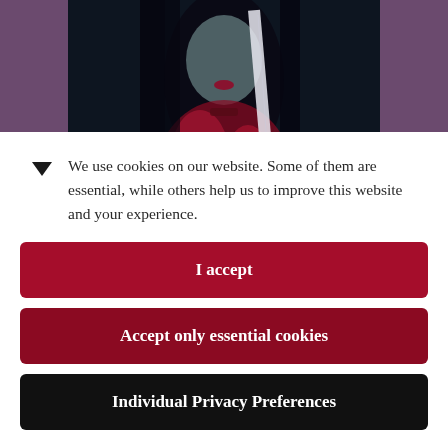[Figure (photo): Dark, moody photo of a person with long dark hair wearing a red feathered/floral garment, holding what appears to be a white object, partially obscured by a cookie consent dialog overlay]
We use cookies on our website. Some of them are essential, while others help us to improve this website and your experience.
I accept
Accept only essential cookies
Individual Privacy Preferences